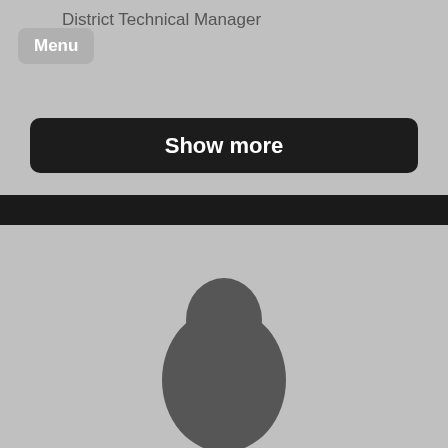District Technical Manager
Menu
Show more
[Figure (photo): Profile card with a silhouette/placeholder person avatar on a gray background]